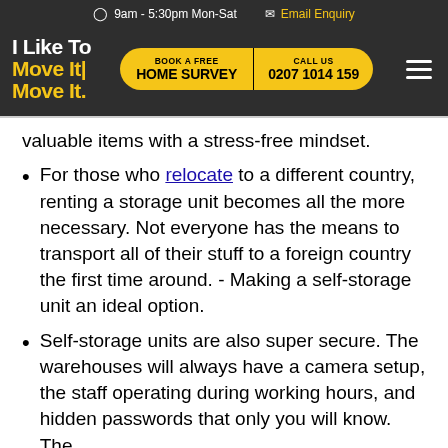9am - 5:30pm Mon-Sat   Email Enquiry
[Figure (logo): I Like To Move It Move It! company logo in white and yellow on dark background, with BOOK A FREE HOME SURVEY and CALL US 0207 1014 159 buttons]
valuable items with a stress-free mindset.
For those who relocate to a different country, renting a storage unit becomes all the more necessary. Not everyone has the means to transport all of their stuff to a foreign country the first time around. - Making a self-storage unit an ideal option.
Self-storage units are also super secure. The warehouses will always have a camera setup, the staff operating during working hours, and hidden passwords that only you will know. The